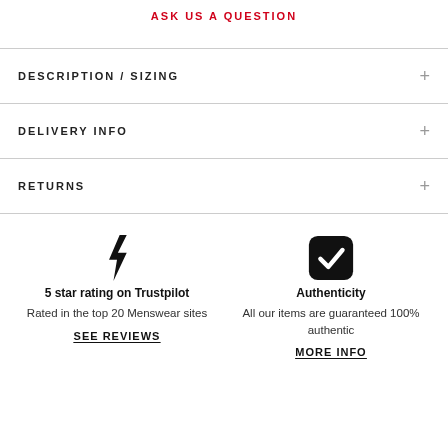ASK US A QUESTION
DESCRIPTION / SIZING
DELIVERY INFO
RETURNS
[Figure (infographic): Lightning bolt icon representing 5 star rating on Trustpilot]
5 star rating on Trustpilot
Rated in the top 20 Menswear sites
SEE REVIEWS
[Figure (infographic): Checkmark in rounded square icon representing Authenticity]
Authenticity
All our items are guaranteed 100% authentic
MORE INFO